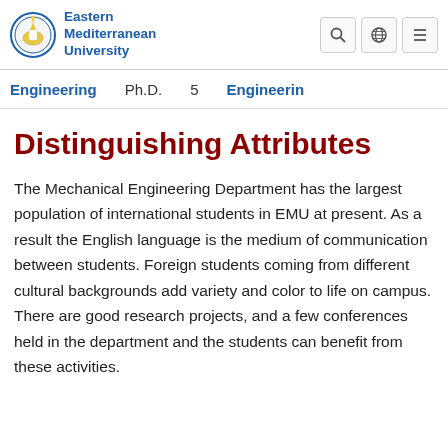Eastern Mediterranean University
Engineering   Ph.D.   5   Engineering
Distinguishing Attributes
The Mechanical Engineering Department has the largest population of international students in EMU at present. As a result the English language is the medium of communication between students. Foreign students coming from different cultural backgrounds add variety and color to life on campus. There are good research projects, and a few conferences held in the department and the students can benefit from these activities.